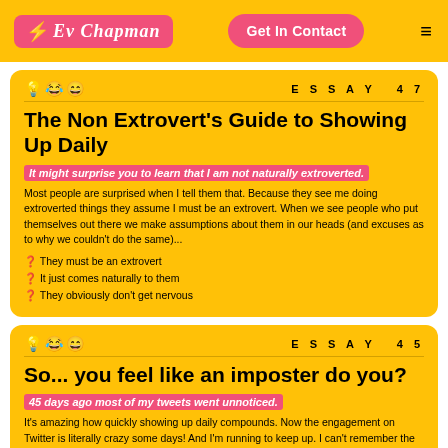[Figure (logo): Ev Chapman logo with lightning bolt on pink background]
Get In Contact
ESSAY 47
The Non Extrovert's Guide to Showing Up Daily
It might surprise you to learn that I am not naturally extroverted.
Most people are surprised when I tell them that. Because they see me doing extroverted things they assume I must be an extrovert. When we see people who put themselves out there we make assumptions about them in our heads (and excuses as to why we couldn't do the same)...
They must be an extrovert
It just comes naturally to them
They obviously don't get nervous
ESSAY 45
So... you feel like an imposter do you?
45 days ago most of my tweets went unnoticed.
It's amazing how quickly showing up daily compounds. Now the engagement on Twitter is literally crazy some days! And I'm running to keep up. I can't remember the last time a tweet had 0 engagement.